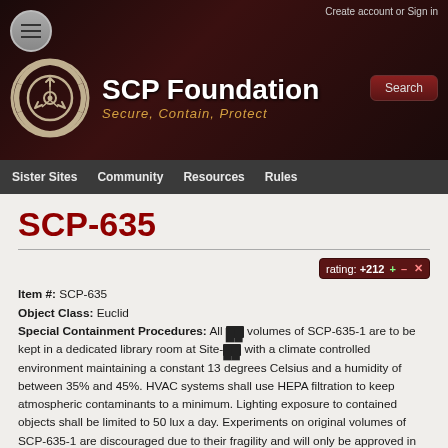Create account or Sign in
[Figure (logo): SCP Foundation logo with circular arrow symbol and text 'SCP Foundation — Secure, Contain, Protect']
Sister Sites  Community  Resources  Rules
SCP-635
rating: +212
Item #: SCP-635

Object Class: Euclid

Special Containment Procedures: All [REDACTED] volumes of SCP-635-1 are to be kept in a dedicated library room at Site-[REDACTED] with a climate controlled environment maintaining a constant 13 degrees Celsius and a humidity of between 35% and 45%. HVAC systems shall use HEPA filtration to keep atmospheric contaminants to a minimum. Lighting exposure to contained objects shall be limited to 50 lux a day. Experiments on original volumes of SCP-635-1 are discouraged due to their fragility and will only be approved in